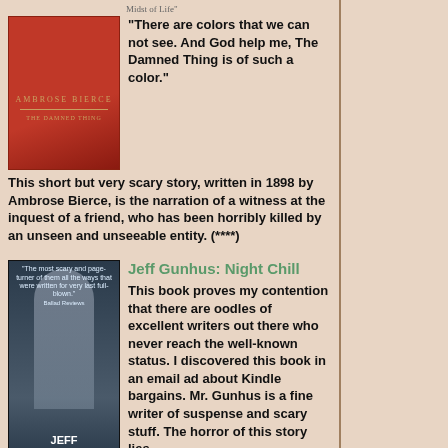[Figure (illustration): Book cover with red/orange background, text 'Midst of Life' at top, author name Ambrose Bierce style layout]
"There are colors that we can not see. And God help me, The Damned Thing is of such a color." This short but very scary story, written in 1898 by Ambrose Bierce, is the narration of a witness at the inquest of a friend, who has been horribly killed by an unseen and unseeable entity. (****)
[Figure (illustration): Book cover for Night Chill by Jeff Gunhus, dark forest/horror imagery with figure in trees, title NIGHT CHILL at bottom]
Jeff Gunhus: Night Chill
This book proves my contention that there are oodles of excellent writers out there who never reach the well-known status. I discovered this book in an email ad about Kindle bargains. Mr. Gunhus is a fine writer of suspense and scary stuff. The horror of this story lies deep within the earth underneath the